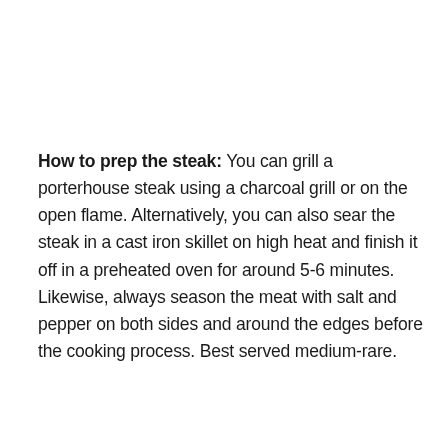How to prep the steak: You can grill a porterhouse steak using a charcoal grill or on the open flame. Alternatively, you can also sear the steak in a cast iron skillet on high heat and finish it off in a preheated oven for around 5-6 minutes. Likewise, always season the meat with salt and pepper on both sides and around the edges before the cooking process. Best served medium-rare.